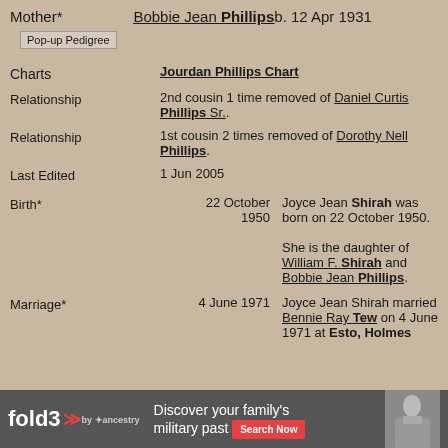Mother* Bobbie Jean Phillips b. 12 Apr 1931
Pop-up Pedigree
Charts Jourdan Phillips Chart
Relationship 2nd cousin 1 time removed of Daniel Curtis Phillips Sr.
Relationship 1st cousin 2 times removed of Dorothy Nell Phillips.
Last Edited 1 Jun 2005
Birth* 22 October 1950 Joyce Jean Shirah was born on 22 October 1950. She is the daughter of William F. Shirah and Bobbie Jean Phillips.
Marriage* 4 June 1971 Joyce Jean Shirah married Bennie Ray Tew on 4 June 1971 at Esto, Holmes
Discover your family's military past Search Now